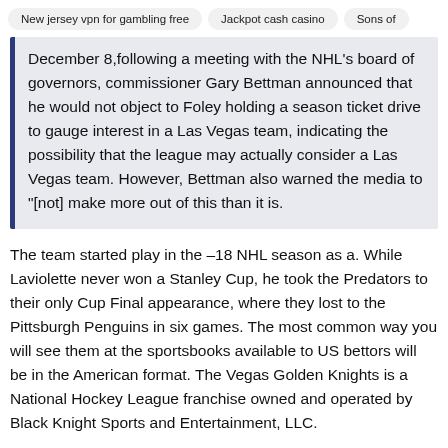New jersey vpn for gambling free   Jackpot cash casino   Sons of
December 8, following a meeting with the NHL's board of governors, commissioner Gary Bettman announced that he would not object to Foley holding a season ticket drive to gauge interest in a Las Vegas team, indicating the possibility that the league may actually consider a Las Vegas team. However, Bettman also warned the media to "[not] make more out of this than it is.
The team started play in the –18 NHL season as a. While Laviolette never won a Stanley Cup, he took the Predators to their only Cup Final appearance, where they lost to the Pittsburgh Penguins in six games. The most common way you will see them at the sportsbooks available to US bettors will be in the American format. The Vegas Golden Knights is a National Hockey League franchise owned and operated by Black Knight Sports and Entertainment, LLC.